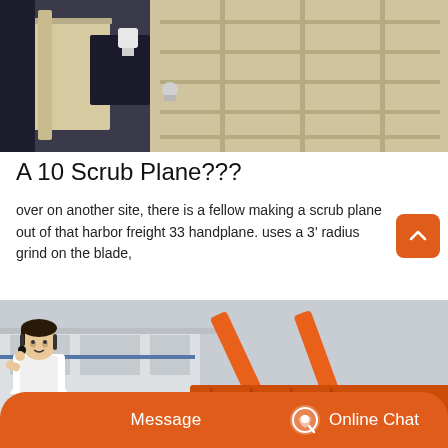[Figure (photo): Industrial machinery parts — beige/cream colored metal frames and shelving units, viewed from above at an angle outdoors.]
A 10 Scrub Plane???
over on another site, there is a fellow making a scrub plane out of that harbor freight 33 handplane. uses a 3' radius grind on the blade,
[Figure (photo): Industrial orange-painted heavy machinery (possibly a loading dock leveler or industrial equipment) outdoors with a factory building in background. A customer service person is shown bottom-left with a headset. Bottom bar shows Message and Online Chat buttons.]